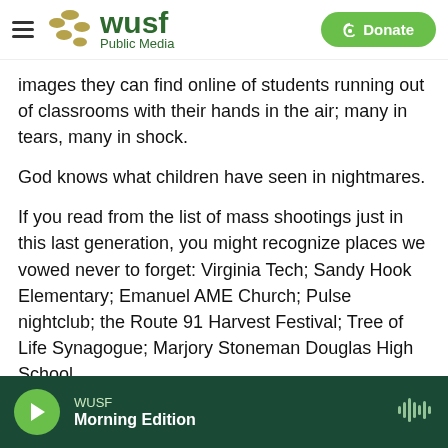WUSF Public Media
images they can find online of students running out of classrooms with their hands in the air; many in tears, many in shock.
God knows what children have seen in nightmares.
If you read from the list of mass shootings just in this last generation, you might recognize places we vowed never to forget: Virginia Tech; Sandy Hook Elementary; Emanuel AME Church; Pulse nightclub; the Route 91 Harvest Festival; Tree of Life Synagogue; Marjory Stoneman Douglas High School.
WUSF Morning Edition